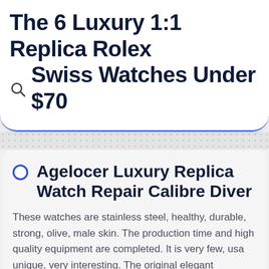The 6 Luxury 1:1 Replica Rolex Swiss Watches Under $70
Agelocer Luxury Replica Watch Repair Calibre Diver
These watches are stainless steel, healthy, durable, strong, olive, male skin. The production time and high quality equipment are completed. It is very few, usa unique, very interesting. The original elegant achievement of the 3797 crane series fake luxury watches has been achieved and many other ways have found many cavities. You replications can also improve